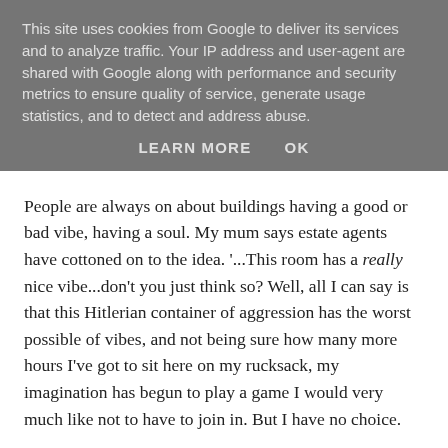This site uses cookies from Google to deliver its services and to analyze traffic. Your IP address and user-agent are shared with Google along with performance and security metrics to ensure quality of service, generate usage statistics, and to detect and address abuse.
LEARN MORE    OK
People are always on about buildings having a good or bad vibe, having a soul. My mum says estate agents have cottoned on to the idea. '...This room has a really nice vibe...don't you just think so? Well, all I can say is that this Hitlerian container of aggression has the worst possible of vibes, and not being sure how many more hours I've got to sit here on my rucksack, my imagination has begun to play a game I would very much like not to have to join in. But I have no choice.
It was yesterday, as Roland was on about the Canterville Ghost and as we were being hainging it over that medieval